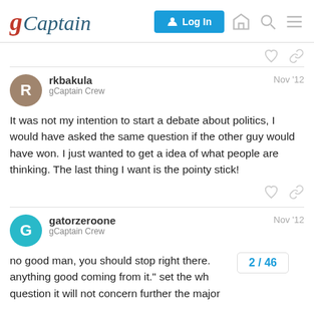gCaptain — Log In
rkbakula — gCaptain Crew — Nov '12
It was not my intention to start a debate about politics, I would have asked the same question if the other guy would have won. I just wanted to get a idea of what people are thinking. The last thing I want is the pointy stick!
gatorzeroone — gCaptain Crew — Nov '12
no good man, you should stop right there. anything good coming from it." set the who question it will not concern further the major